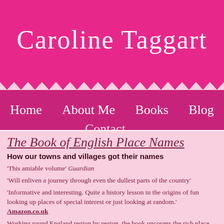Caroline Taggart
Home   About Me   Books   Blog
The Book of English Place Names
How our towns and villages got their names
'This amiable volume' Guardian
'Will enliven a journey through even the dullest parts of the country'
'Informative and interesting. Quite a history lesson in the origins of place names, fun looking up places of special interest or just looking at random.' Amazon.co.uk
Working round England region by region, the book uncovers the rich history behind place names, from legends of giants to long-forgotten Saxon chiefs w...